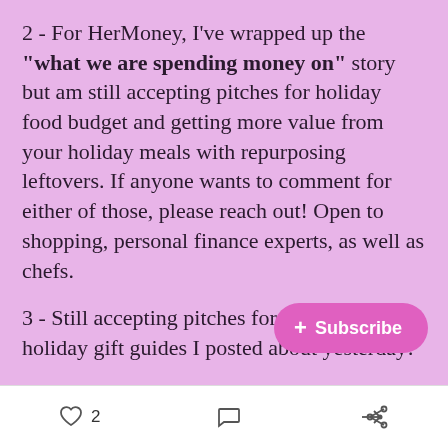2 - For HerMoney, I've wrapped up the "what we are spending money on" story but am still accepting pitches for holiday food budget and getting more value from your holiday meals with repurposing leftovers. If anyone wants to comment for either of those, please reach out! Open to shopping, personal finance experts, as well as chefs.
3 - Still accepting pitches for all the Forbes holiday gift guides I posted about yesterday!
4 - The cask strength whiskey s... completed. NO more pitches fo...
[Figure (other): Pink rounded Subscribe button overlay with plus sign]
Heart icon with count 2, Comment icon, Share icon